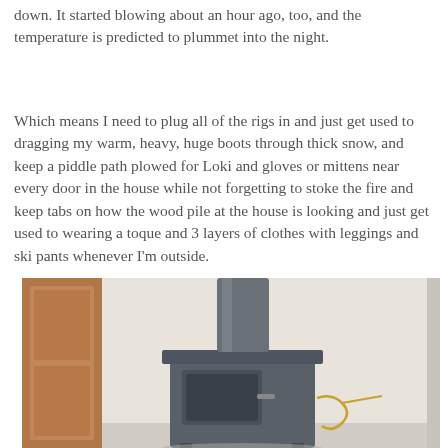down. It started blowing about an hour ago, too, and the temperature is predicted to plummet into the night.
Which means I need to plug all of the rigs in and just get used to dragging my warm, heavy, huge boots through thick snow, and keep a piddle path plowed for Loki and gloves or mittens near every door in the house while not forgetting to stoke the fire and keep tabs on how the wood pile at the house is looking and just get used to wearing a toque and 3 layers of clothes with leggings and ski pants whenever I'm outside.
[Figure (photo): A wood-burning stove with a dark grey/blue metal body and cylindrical flue pipe extending upward, sitting in what appears to be a home interior. A wood panel or door visible on the left side, light-colored walls in the background.]